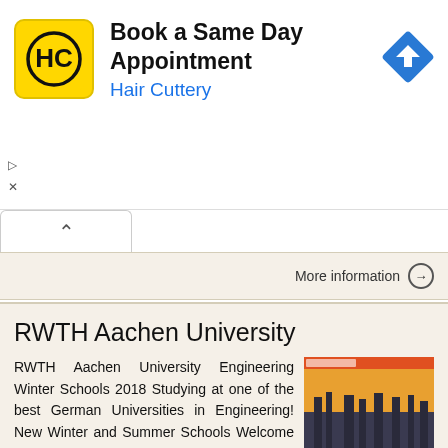[Figure (screenshot): Hair Cuttery advertisement banner with logo, 'Book a Same Day Appointment' title, blue subtitle 'Hair Cuttery', and a blue navigation/directions icon on the right]
More information →
RWTH Aachen University
RWTH Aachen University Engineering Winter Schools 2018 Studying at one of the best German Universities in Engineering! New Winter and Summer Schools Welcome Why choose us Contact Our new Winter Schools
More information →
European Bioethics Training Camp
European Bioethics Training Camp Individualized Medicine and the Ethics of